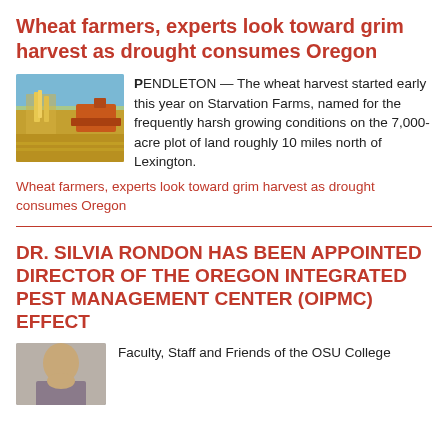Wheat farmers, experts look toward grim harvest as drought consumes Oregon
[Figure (photo): Wheat field with harvester machinery under blue sky]
PENDLETON — The wheat harvest started early this year on Starvation Farms, named for the frequently harsh growing conditions on the 7,000-acre plot of land roughly 10 miles north of Lexington.
Wheat farmers, experts look toward grim harvest as drought consumes Oregon
DR. SILVIA RONDON HAS BEEN APPOINTED DIRECTOR OF THE OREGON INTEGRATED PEST MANAGEMENT CENTER (OIPMC) EFFECT
[Figure (photo): Portrait photo of Dr. Silvia Rondon]
Faculty, Staff and Friends of the OSU College of Agriculture and Sciences